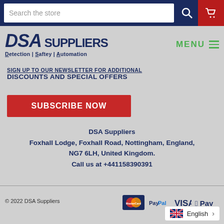[Figure (screenshot): Search bar with text 'Search the store', search icon, and shopping cart icon on dark blue/red background]
[Figure (logo): DSA Suppliers logo with text 'Detection | Saftey | Automation' and green MENU hamburger]
SIGN UP TO OUR NEWSLETTER FOR ADDITIONAL DISCOUNTS AND SPECIAL OFFERS
SUBSCRIBE NOW
DSA Suppliers
Foxhall Lodge, Foxhall Road, Nottingham, England, NG7 6LH, United Kingdom.
Call us at +441158390391
© 2022 DSA Suppliers
[Figure (logo): Payment icons: MasterCard, PayPal, VISA, Apple Pay]
English